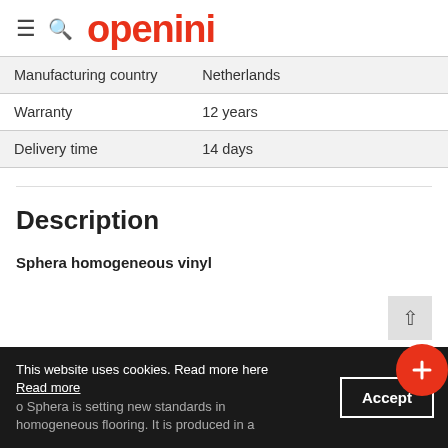openini
| Manufacturing country | Netherlands |
| Warranty | 12 years |
| Delivery time | 14 days |
Description
Sphera homogeneous vinyl
This website uses cookies. Read more here Read more
o Sphera is setting new standards in homogeneous flooring. It is produced in a...